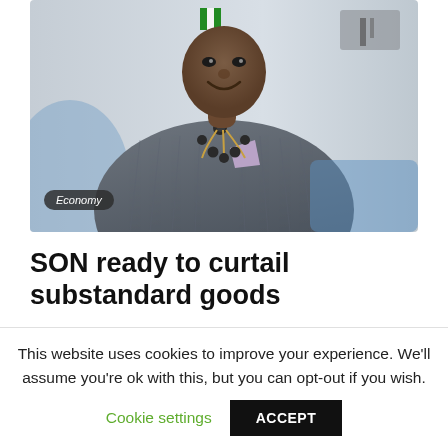[Figure (photo): Portrait photo of a person wearing a grey traditional Nigerian agbada outfit with decorative beaded chain necklace and lavender pocket square, smiling, seated in an office-like setting with a Nigerian flag visible in the background]
Economy
SON ready to curtail substandard goods
This website uses cookies to improve your experience. We'll assume you're ok with this, but you can opt-out if you wish.
Cookie settings  ACCEPT